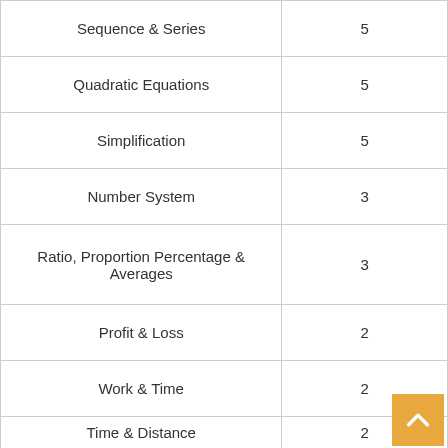| Topic | Questions |
| --- | --- |
| Sequence & Series | 5 |
| Quadratic Equations | 5 |
| Simplification | 5 |
| Number System | 3 |
| Ratio, Proportion Percentage & Averages | 3 |
| Profit & Loss | 2 |
| Work & Time | 2 |
| Time & Distance | 2 |